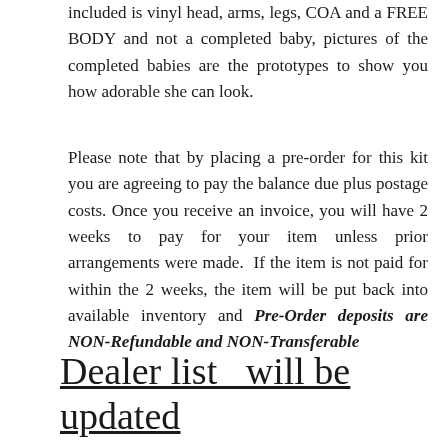included is vinyl head, arms, legs, COA and a FREE BODY and not a completed baby, pictures of the completed babies are the prototypes to show you how adorable she can look.
Please note that by placing a pre-order for this kit you are agreeing to pay the balance due plus postage costs. Once you receive an invoice, you will have 2 weeks to pay for your item unless prior arrangements were made. If the item is not paid for within the 2 weeks, the item will be put back into available inventory and Pre-Order deposits are NON-Refundable and NON-Transferable
Dealer list   will be updated